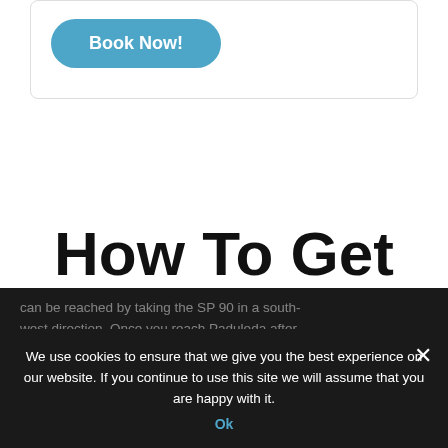[Figure (screenshot): Book Now! button — rounded rectangle with blue background (#4da6c8) and white bold text]
How To Get To La Marinedda
We use cookies to ensure that we give you the best experience on our website. If you continue to use this site we will assume that you are happy with it.
Ok
can be reached by taking the SP 90 in a south-west direction. Once you reach Paduleda after